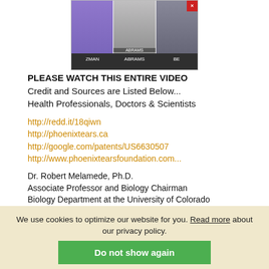[Figure (photo): Video thumbnail showing three people labeled ZMAN, ABRAMS, and BE]
PLEASE WATCH THIS ENTIRE VIDEO
Credit and Sources are Listed Below...
Health Professionals, Doctors & Scientists
http://redd.it/18qiwn
http://phoenixtears.ca
http://google.com/patents/US6630507
http://www.phoenixtearsfoundation.com...
Dr. Robert Melamede, Ph.D.
Associate Professor and Biology Chairman
Biology Department at the University of Colorado
CEO and President of Cannabis Science
"Cannabinoids kill cancer cells in many cases, people are not aware of this"
Dr. Manuel Guzman, Ph.D.
Department of Biochemistry and Molecular Biology
Professor at the Complutense University, Madrid, Spain
Cannabinoids have shown...
Dr. Prakash Nagarkatti, Ph.D.
Vice President for Ca...
University of South Carolina
Columbia Distinguished Professor
We use cookies to optimize our website for you. Read more about our privacy policy.
Do not show again